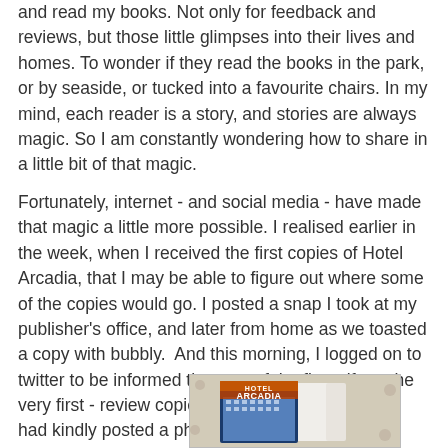and read my books. Not only for feedback and reviews, but those little glimpses into their lives and homes. To wonder if they read the books in the park, or by seaside, or tucked into a favourite chairs. In my mind, each reader is a story, and stories are always magic. So I am constantly wondering how to share in a little bit of that magic.
Fortunately, internet - and social media - have made that magic a little more possible. I realised earlier in the week, when I received the first copies of Hotel Arcadia, that I may be able to figure out where some of the copies would go. I posted a snap I took at my publisher's office, and later from home as we toasted a copy with bubbly.  And this morning, I logged on to twitter to be informed that one of the first - if not the very first - review copies had arrived. Dave Hardy had kindly posted a photograph on twitter for me:
[Figure (photo): A photograph of the book 'Hotel Arcadia' in its packaging/envelope, showing the book cover with the hotel building and title text, placed on a floral patterned surface.]